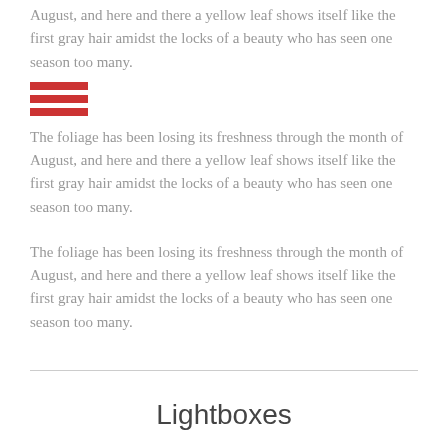August, and here and there a yellow leaf shows itself like the first gray hair amidst the locks of a beauty who has seen one season too many.
[Figure (other): Three horizontal red bars stacked vertically, resembling a menu/hamburger icon or decorative element]
The foliage has been losing its freshness through the month of August, and here and there a yellow leaf shows itself like the first gray hair amidst the locks of a beauty who has seen one season too many.
The foliage has been losing its freshness through the month of August, and here and there a yellow leaf shows itself like the first gray hair amidst the locks of a beauty who has seen one season too many.
Lightboxes